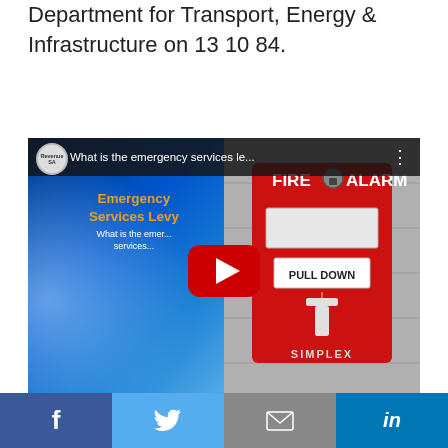Department for Transport, Energy & Infrastructure on 13 10 84.
[Figure (screenshot): YouTube video thumbnail for 'What is the emergency services le...' featuring a split image: left side shows blue abstract background with text 'Emergency Services Levy - What is the emergency services...' and a YouTube play button; right side shows a red Simplex FIRE ALARM PULL DOWN device mounted on a wall.]
Video Transcript: What is the emergency services levy?
[Figure (infographic): Social media share bar with four buttons: Facebook (f), Twitter (bird), Email (envelope), LinkedIn (in)]